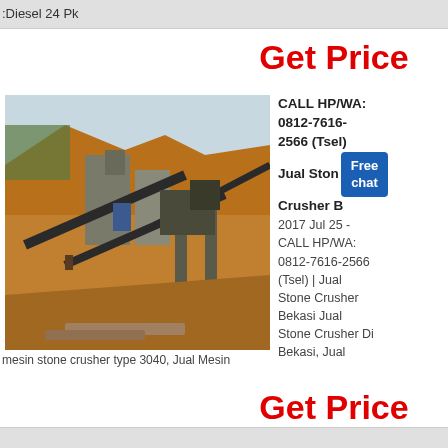:Diesel 24 Pk
Get Price
[Figure (photo): Industrial stone crusher plant type 3040 at a mining/quarry site with conveyor belts, concrete structures, and excavated hillside terrain]
mesin stone crusher type 3040, Jual Mesin
CALL HP/WA: 0812-7616-2566 (Tsel) Jual Stone Crusher Bekasi 2017 Jul 25 - CALL HP/WA: 0812-7616-2566 (Tsel) | Jual Stone Crusher Bekasi Jual Stone Crusher Di Bekasi, Jual
Get Price